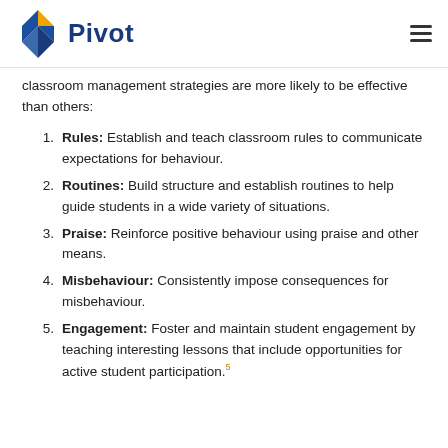Pivot
classroom management strategies are more likely to be effective than others:
Rules: Establish and teach classroom rules to communicate expectations for behaviour.
Routines: Build structure and establish routines to help guide students in a wide variety of situations.
Praise: Reinforce positive behaviour using praise and other means.
Misbehaviour: Consistently impose consequences for misbehaviour.
Engagement: Foster and maintain student engagement by teaching interesting lessons that include opportunities for active student participation.5